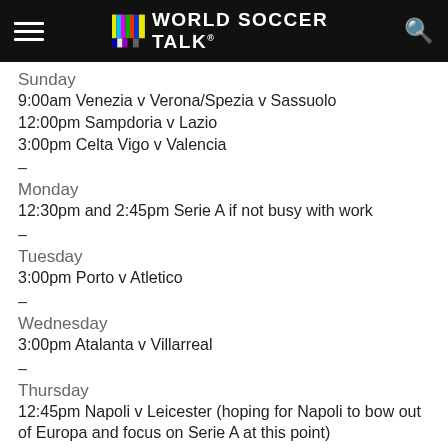World Soccer Talk
Sunday
9:00am Venezia v Verona/Spezia v Sassuolo
12:00pm Sampdoria v Lazio
3:00pm Celta Vigo v Valencia
–
Monday
12:30pm and 2:45pm Serie A if not busy with work
–
Tuesday
3:00pm Porto v Atletico
–
Wednesday
3:00pm Atalanta v Villarreal
–
Thursday
12:45pm Napoli v Leicester (hoping for Napoli to bow out of Europa and focus on Serie A at this point)